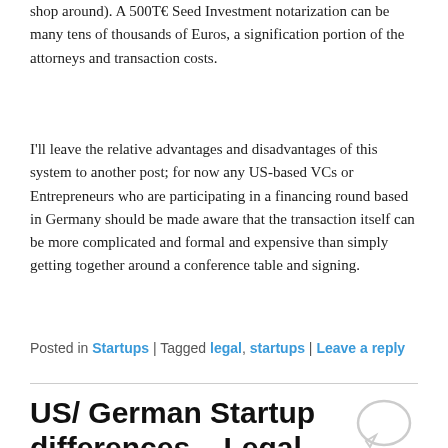shop around).  A 500T€ Seed Investment notarization can be many tens of thousands of Euros, a signification portion of the attorneys and transaction costs.
I'll leave the relative advantages and disadvantages of this system to another post; for now any US-based VCs or Entrepreneurs who are participating in a financing round based in Germany should be made aware that the transaction itself can be more complicated and formal and expensive than simply getting together around a conference table and signing.
Posted in Startups | Tagged legal, startups | Leave a reply
US/ German Startup differences – Legal Differences on Founder Liability